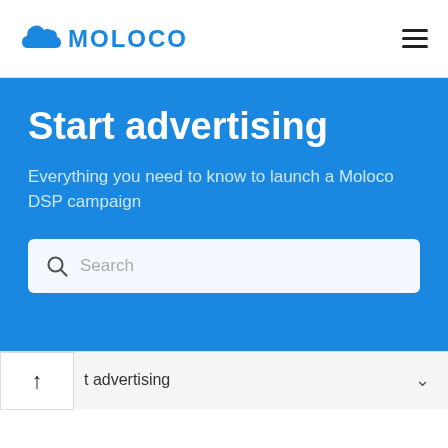[Figure (logo): Moloco cloud logo with blue cloud icon and uppercase MOLOCO text in blue]
Start advertising
Everything you need to know to launch a Moloco DSP campaign
Search
t advertising